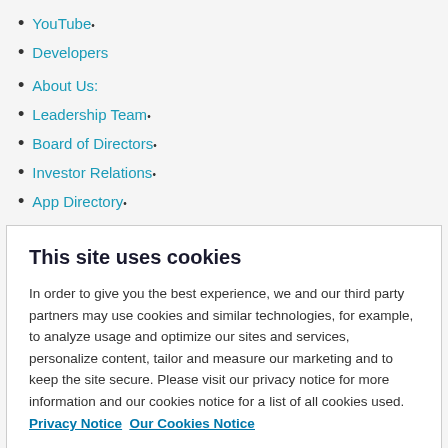YouTube•
Developers
About Us:
Leadership Team•
Board of Directors•
Investor Relations•
App Directory•
This site uses cookies
In order to give you the best experience, we and our third party partners may use cookies and similar technologies, for example, to analyze usage and optimize our sites and services, personalize content, tailor and measure our marketing and to keep the site secure. Please visit our privacy notice for more information and our cookies notice for a list of all cookies used.  Privacy Notice  Our Cookies Notice